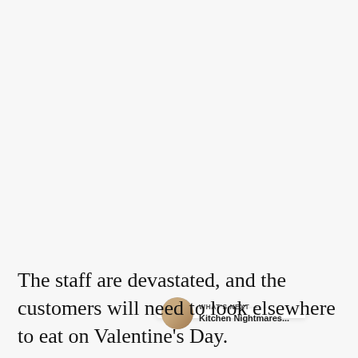[Figure (screenshot): Social media UI overlay with like button (teal heart circle), like count of 68, share button, and a 'WHAT'S NEXT' card showing Kitchen Nightmares...]
The staff are devastated, and the customers will need to look elsewhere to eat on Valentine's Day.